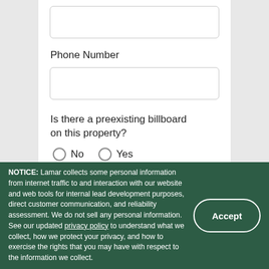Phone Number
Is there a preexisting billboard on this property?
No   Yes
Address for Proposed Billboard Location
NOTICE: Lamar collects some personal information from internet traffic to and interaction with our website and web tools for internal lead development purposes, direct customer communication, and reliability assessment. We do not sell any personal information. See our updated privacy policy to understand what we collect, how we protect your privacy, and how to exercise the rights that you may have with respect to the information we collect.